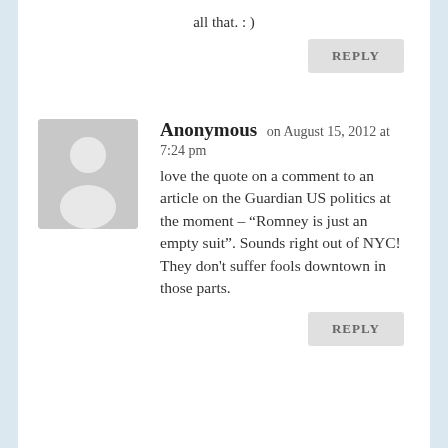all that. : )
REPLY
Anonymous on August 15, 2012 at 7:24 pm
love the quote on a comment to an article on the Guardian US politics at the moment – “Romney is just an empty suit”. Sounds right out of NYC! They don't suffer fools downtown in those parts.
REPLY